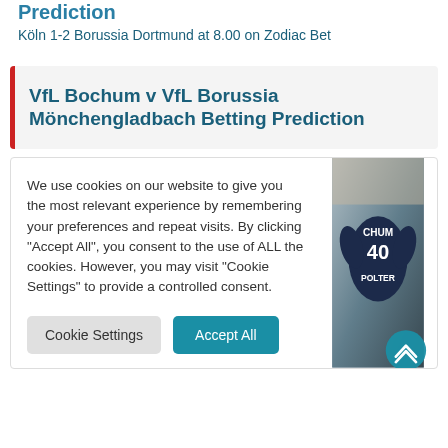Prediction
Köln 1-2 Borussia Dortmund at 8.00 on Zodiac Bet
VfL Bochum v VfL Borussia Mönchengladbach Betting Prediction
We use cookies on our website to give you the most relevant experience by remembering your preferences and repeat visits. By clicking "Accept All", you consent to the use of ALL the cookies. However, you may visit "Cookie Settings" to provide a controlled consent.
[Figure (photo): Football player wearing a dark blue jersey with 'CHUM' and number 40 visible, and 'POLTER' on the back, in a stadium setting]